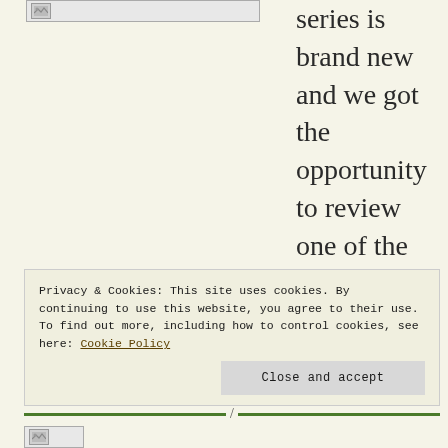[Figure (photo): Small image placeholder with broken image icon in upper left of page]
series is brand new and we got the opportunity to review one of the titles! They are all about people from the
Privacy & Cookies: This site uses cookies. By continuing to use this website, you agree to their use.
To find out more, including how to control cookies, see here: Cookie Policy
Close and accept